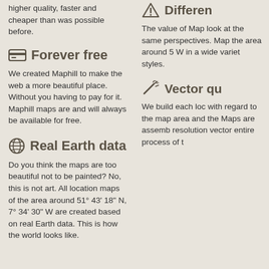higher quality, faster and cheaper than was possible before.
Forever free
We created Maphill to make the web a more beautiful place. Without you having to pay for it. Maphill maps are and will always be available for free.
Real Earth data
Do you think the maps are too beautiful not to be painted? No, this is not art. All location maps of the area around 51° 43' 18" N, 7° 34' 30" W are created based on real Earth data. This is how the world looks like.
Differen
The value of Map look at the same perspectives. Map the area around 5 W in a wide variet styles.
Vector qu
We build each loc with regard to the map area and the Maps are assemb resolution vector entire process of t